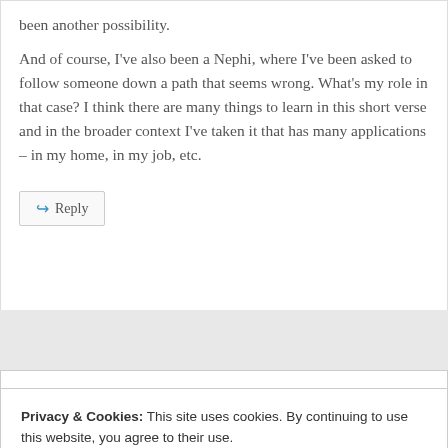been another possibility.
And of course, I've also been a Nephi, where I've been asked to follow someone down a path that seems wrong. What's my role in that case? I think there are many things to learn in this short verse and in the broader context I've taken it that has many applications – in my home, in my job, etc.
Privacy & Cookies: This site uses cookies. By continuing to use this website, you agree to their use.
To find out more, including how to control cookies, see here: Cookie Policy